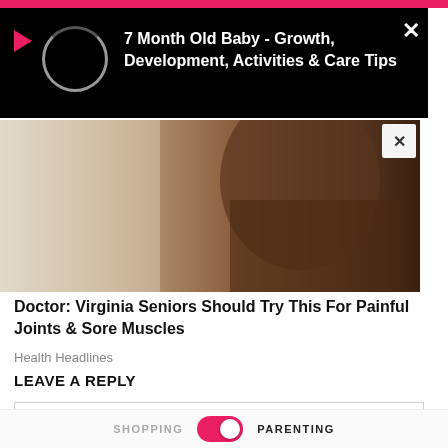[Figure (screenshot): Pink top bar of a website/app]
[Figure (screenshot): Video popup overlay on black background with red play triangle icon, circular loading indicator, and video title text: '7 Month Old Baby - Growth, Development, Activities & Care Tips']
7 Month Old Baby - Growth, Development, Activities & Care Tips
[Figure (photo): A person's torso/shoulder area with warm brown tones, with a close (X) button in upper right]
Doctor: Virginia Seniors Should Try This For Painful Joints & Sore Muscles
Health Headlines
LEAVE A REPLY
[Figure (screenshot): Empty comment text area box with light grey border]
SHOPPING   [toggle]   PARENTING